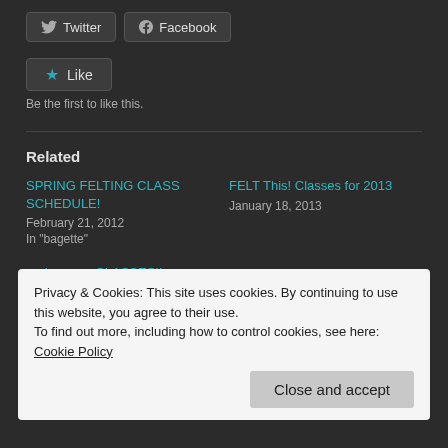[Figure (other): Twitter and Facebook share buttons]
[Figure (other): Like button with star icon and 'Be the first to like this.' text]
Related
SPRING FELTING CLASS SCHEDULE!
February 21, 2012
In "bagette"
FELT This! Classes for 2013
January 18, 2013
and now…..CLASSES!!
January 15, 2012
With 1 comment
Privacy & Cookies: This site uses cookies. By continuing to use this website, you agree to their use.
To find out more, including how to control cookies, see here: Cookie Policy
Close and accept